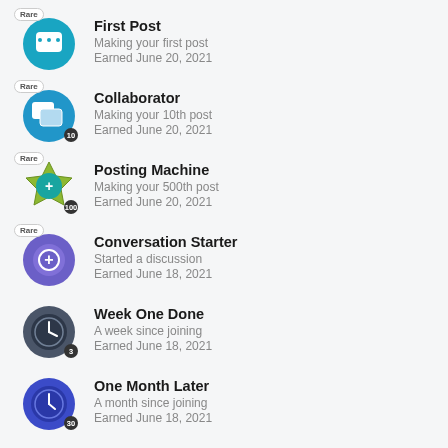First Post
Making your first post
Earned June 20, 2021
Collaborator
Making your 10th post
Earned June 20, 2021
Posting Machine
Making your 500th post
Earned June 20, 2021
Conversation Starter
Started a discussion
Earned June 18, 2021
Week One Done
A week since joining
Earned June 18, 2021
One Month Later
A month since joining
Earned June 18, 2021